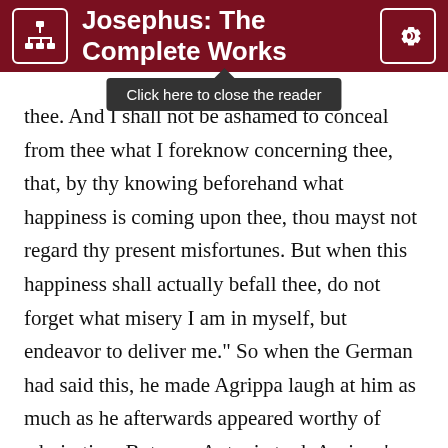Josephus: The Complete Works
Click here to close the reader
thee. And I shall not be ashamed to conceal from thee what I foreknow concerning thee, that, by thy knowing beforehand what happiness is coming upon thee, thou mayst not regard thy present misfortunes. But when this happiness shall actually befall thee, do not forget what misery I am in myself, but endeavor to deliver me." So when the German had said this, he made Agrippa laugh at him as much as he afterwards appeared worthy of admiration. But now Antonia took Agrippa's misfortune to heart: however, to speak to Tiberius on his behalf, she took to be a very difficult thing, and indeed quite impracticable, as to any hope of